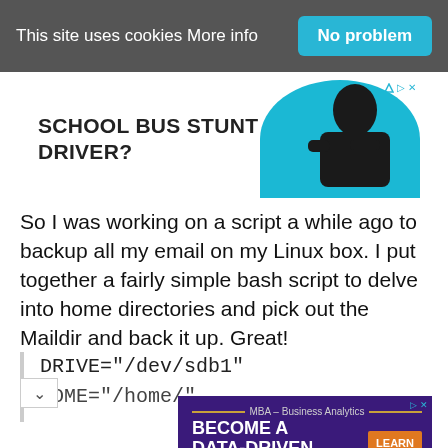This site uses cookies More info  No problem
[Figure (photo): Advertisement: SCHOOL BUS STUNT DRIVER? with image of person on teal circle background]
So I was working on a script a while ago to backup all my email on my Linux box. I put together a fairly simple bash script to delve into home directories and pick out the Maildir and back it up. Great!
DRIVE="/dev/sdb1"
HOME="/home/"
[Figure (photo): Advertisement: MBA – Business Analytics BECOME A DATA-DRIVEN LEADER. High Point University. Learn More button.]